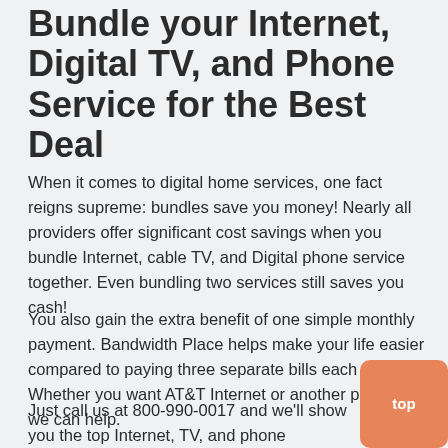Bundle your Internet, Digital TV, and Phone Service for the Best Deal
When it comes to digital home services, one fact reigns supreme: bundles save you money! Nearly all providers offer significant cost savings when you bundle Internet, cable TV, and Digital phone service together. Even bundling two services still saves you cash!
You also gain the extra benefit of one simple monthly payment. Bandwidth Place helps make your life easier compared to paying three separate bills each month. Whether you want AT&T Internet or another provider, we can help.
Just call us at 800-990-0017 and we'll show you the top Internet, TV, and phone providers in Woodbridge, VA.